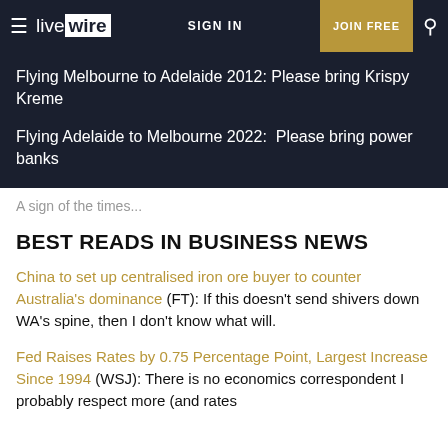live wire | SIGN IN | JOIN FREE
Flying Melbourne to Adelaide 2012: Please bring Krispy Kreme
Flying Adelaide to Melbourne 2022:  Please bring power banks
A sign of the times...
BEST READS IN BUSINESS NEWS
China to set up centralised iron ore buyer to counter Australia's dominance (FT): If this doesn't send shivers down WA's spine, then I don't know what will.
Fed Raises Rates by 0.75 Percentage Point, Largest Increase Since 1994 (WSJ): There is no economics correspondent I probably respect more (and rates